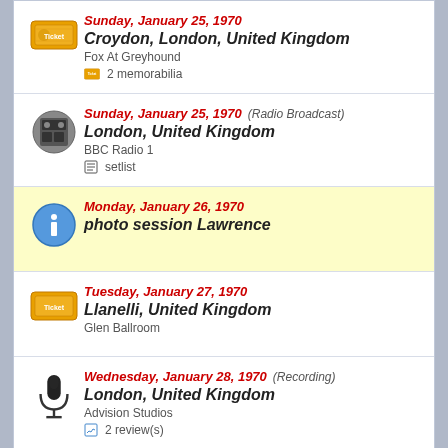Sunday, January 25, 1970 — Croydon, London, United Kingdom — Fox At Greyhound — 2 memorabilia
Sunday, January 25, 1970 (Radio Broadcast) — London, United Kingdom — BBC Radio 1 — setlist
Monday, January 26, 1970 — photo session Lawrence
Tuesday, January 27, 1970 — Llanelli, United Kingdom — Glen Ballroom
Wednesday, January 28, 1970 (Recording) — London, United Kingdom — Advision Studios — 2 review(s)
Thursday, January 29, 1970 — Boston, United Kingdom